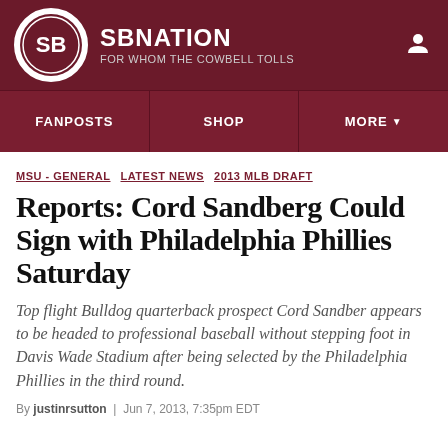SBNATION | FOR WHOM THE COWBELL TOLLS
FANPOSTS | SHOP | MORE
MSU - GENERAL  LATEST NEWS  2013 MLB DRAFT
Reports: Cord Sandberg Could Sign with Philadelphia Phillies Saturday
Top flight Bulldog quarterback prospect Cord Sandber appears to be headed to professional baseball without stepping foot in Davis Wade Stadium after being selected by the Philadelphia Phillies in the third round.
By justinrsutton | Jun 7, 2013, 7:35pm EDT